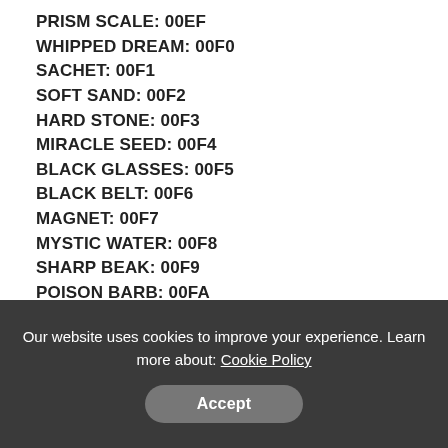PRISM SCALE: 00EF
WHIPPED DREAM: 00F0
SACHET: 00F1
SOFT SAND: 00F2
HARD STONE: 00F3
MIRACLE SEED: 00F4
BLACK GLASSES: 00F5
BLACK BELT: 00F6
MAGNET: 00F7
MYSTIC WATER: 00F8
SHARP BEAK: 00F9
POISON BARB: 00FA
NEVERMELT ICE: 00FB
SPELL TAG: 00FC
TWISTED SPOON: 00FD
CHARCOAL: 00FE (partially visible)
Our website uses cookies to improve your experience. Learn more about: Cookie Policy
Accept